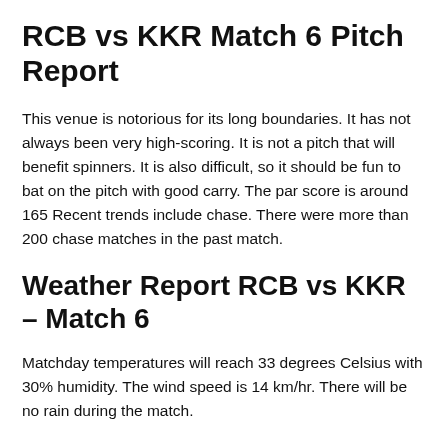RCB vs KKR Match 6 Pitch Report
This venue is notorious for its long boundaries. It has not always been very high-scoring. It is not a pitch that will benefit spinners. It is also difficult, so it should be fun to bat on the pitch with good carry. The par score is around 165 Recent trends include chase. There were more than 200 chase matches in the past match.
Weather Report RCB vs KKR – Match 6
Matchday temperatures will reach 33 degrees Celsius with 30% humidity. The wind speed is 14 km/hr. There will be no rain during the match.